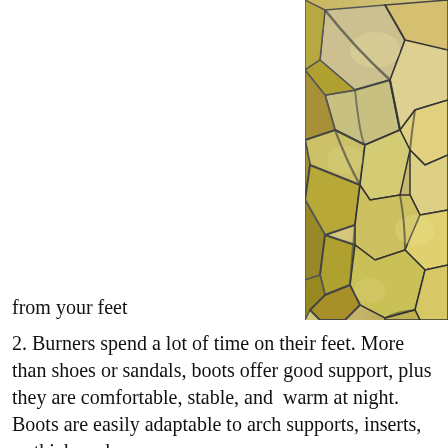[Figure (photo): Close-up photograph of cracked dry earth/mud with yellow-tan and grey tones, showing polygon-shaped dried mud segments with deep cracks between them.]
from your feet
2. Burners spend a lot of time on their feet. More than shoes or sandals, boots offer good support, plus they are comfortable, stable, and  warm at night. Boots are easily adaptable to arch supports, inserts, or thick socks.
3. Boots are effin' hot. They look great with everything, make you walk with confidence and you'll feel like a super-hero.
4. Good boots will protect your feet from dangerous materials (embers, hardware, rebar) and unpleasant